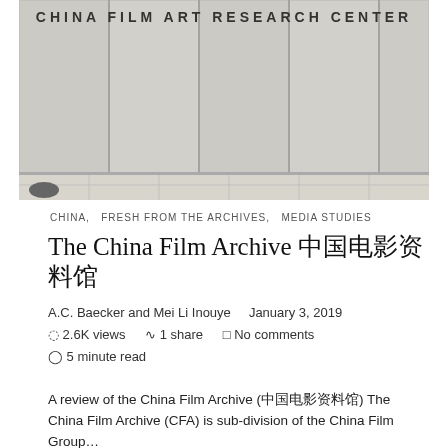[Figure (photo): Exterior photo of the China Film Art Research Center building facade with large grey panels and the text 'CHINA FILM ART RESEARCH CENTER' written across the top. The bottom portion shows tiled pavement.]
CHINA,   FRESH FROM THE ARCHIVES,   MEDIA STUDIES
The China Film Archive 中国电影资料馆
A.C. Baecker and Mei Li Inouye    January 3, 2019
2.6K views    1 share    No comments
5 minute read
A review of the China Film Archive (中国电影资料馆) The China Film Archive (CFA) is sub-division of the China Film Group…